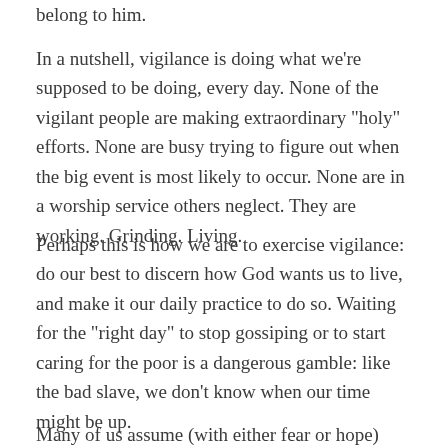belong to him.
In a nutshell, vigilance is doing what we’re supposed to be doing, every day. None of the vigilant people are making extraordinary “holy” efforts. None are busy trying to figure out when the big event is most likely to occur. None are in a worship service others neglect. They are working. Grinding. Living.
Perhaps this is how we are to exercise vigilance: do our best to discern how God wants us to live, and make it our daily practice to do so. Waiting for the “right day” to stop gossiping or to start caring for the poor is a dangerous gamble: like the bad slave, we don’t know when our time might be up.
Many of us assume (with either fear or hope) that God’s